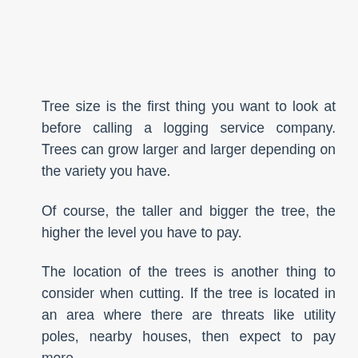Tree size is the first thing you want to look at before calling a logging service company. Trees can grow larger and larger depending on the variety you have.
Of course, the taller and bigger the tree, the higher the level you have to pay.
The location of the trees is another thing to consider when cutting. If the tree is located in an area where there are threats like utility poles, nearby houses, then expect to pay more.
The reason for this is that the company you hire for